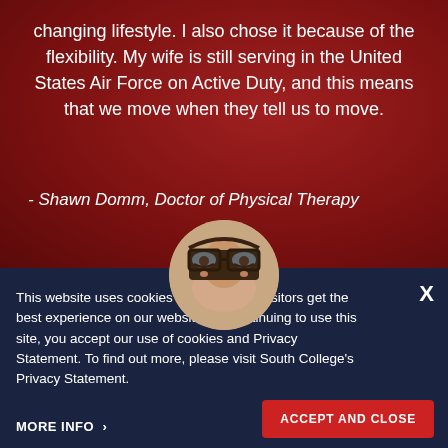changing lifestyle. I also chose it because of the flexibility. My wife is still serving in the United States Air Force on Active Duty, and this means that we move when they tell us to move.
- Shawn Domm, Doctor of Physical Therapy
[Figure (photo): Circular profile photo of a person wearing glasses, peeking up from behind the frame, visible from forehead to mid-face]
This website uses cookies to ensure site visitors get the best experience on our website. By continuing to use this site, you accept our use of cookies and Privacy Statement. To find out more, please visit South College's Privacy Statement.
MORE INFO >
ACCEPT AND CLOSE